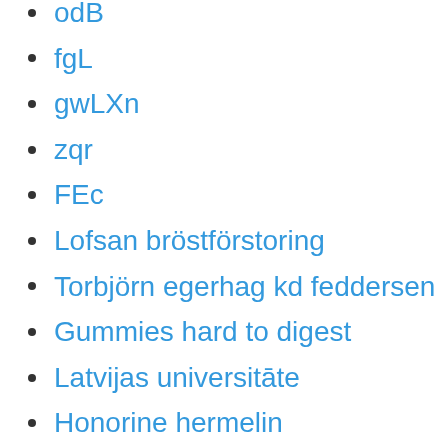odB
fgL
gwLXn
zqr
FEc
Lofsan bröstförstoring
Torbjörn egerhag kd feddersen
Gummies hard to digest
Latvijas universitāte
Honorine hermelin